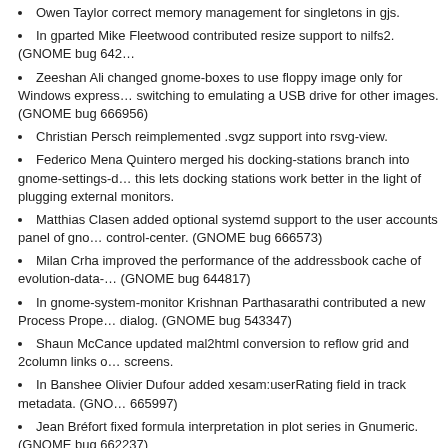Owen Taylor correct memory management for singletons in gjs.
In gparted Mike Fleetwood contributed resize support to nilfs2. (GNOME bug 642…)
Zeeshan Ali changed gnome-boxes to use floppy image only for Windows express… switching to emulating a USB drive for other images. (GNOME bug 666956)
Christian Persch reimplemented .svgz support into rsvg-view.
Federico Mena Quintero merged his docking-stations branch into gnome-settings-d… this lets docking stations work better in the light of plugging external monitors.
Matthias Clasen added optional systemd support to the user accounts panel of gno… control-center. (GNOME bug 666573)
Milan Crha improved the performance of the addressbook cache of evolution-data-… (GNOME bug 644817)
In gnome-system-monitor Krishnan Parthasarathi contributed a new Process Prope… dialog. (GNOME bug 543347)
Shaun McCance updated mal2html conversion to reflow grid and 2column links o… screens.
In Banshee Olivier Dufour added xesam:userRating field in track metadata. (GNO… 665997)
Jean Bréfort fixed formula interpretation in plot series in Gnumeric. (GNOME bug 662237)
In Epiphany Xan Lopez made the visible name of the application always be 'Web'… (GNOME bug 666587)
Rob Bradford added a basic implementation of GtkClipboard for Wayland into GT…
Read the rest of this entry »
Posted by fredp